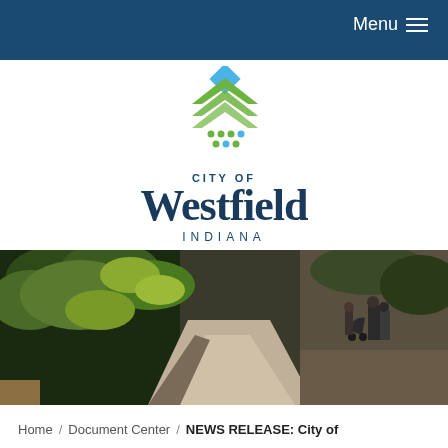Menu
[Figure (logo): City of Westfield Indiana logo with geometric diamond/chevron mark in blue and green]
[Figure (photo): Outdoor photo of a paved trail path through trees with people pushing strollers in the distance]
Home / Document Center / NEWS RELEASE: City of